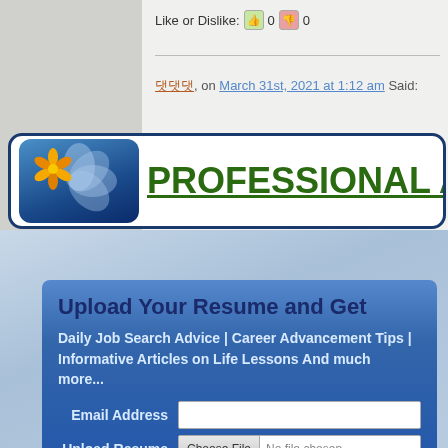Like or Dislike: 0 0
댓댓댓, on March 31st, 2021 at 1:12 am Said:
[Figure (logo): Professional Advice website banner with flower logo on blue gradient square and green underlined text 'PROFESSIONAL ADVI...']
Upload Your Resume and Get
Daily Job Search Advice | Career Advancement Tips | Informative Articles on Life Lessons And much more...
Email Address
Upload Resume   Choose File   No file chosen